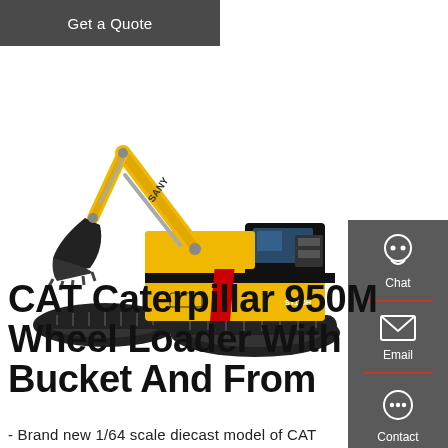Get a Quote
[Figure (photo): SANY excavator/crawler excavator product photo on white background, yellow and black color scheme]
[Figure (infographic): Right sidebar with Chat (headset icon), Email (envelope icon), and Contact (chat bubble icon) buttons on dark gray background with red dividers]
CAT Caterpillar 950M Wheel Loader With Bucket And From
- Brand new 1/64 scale diecast model of CAT